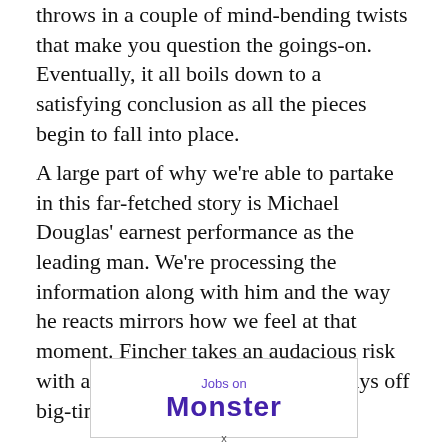throws in a couple of mind-bending twists that make you question the goings-on. Eventually, it all boils down to a satisfying conclusion as all the pieces begin to fall into place.
A large part of why we're able to partake in this far-fetched story is Michael Douglas' earnest performance as the leading man. We're processing the information along with him and the way he reacts mirrors how we feel at that moment. Fincher takes an audacious risk with a convoluted storyline, but it pays off big-time here.
[Figure (other): Advertisement box with 'Jobs on' text above a partially visible Monster.com logo in purple]
x